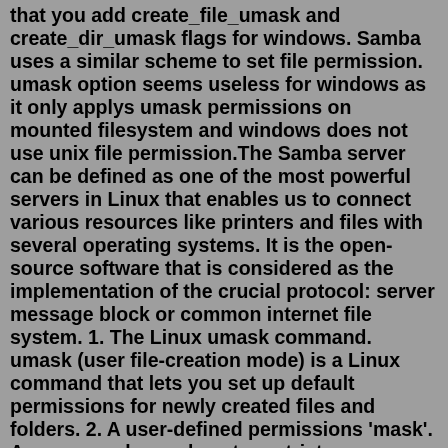that you add create_file_umask and create_dir_umask flags for windows. Samba uses a similar scheme to set file permission. umask option seems useless for windows as it only applys umask permissions on mounted filesystem and windows does not use unix file permission.The Samba server can be defined as one of the most powerful servers in Linux that enables us to connect various resources like printers and files with several operating systems. It is the open-source software that is considered as the implementation of the crucial protocol: server message block or common internet file system. 1. The Linux umask command. umask (user file-creation mode) is a Linux command that lets you set up default permissions for newly created files and folders. 2. A user-defined permissions 'mask'. A user can choose how to restrict permissions by using a permissions mask. A permission mask interacts with the default system permissions and ...The "umask" command can be used to read or set default file permissions for the current user. root> umask 022.